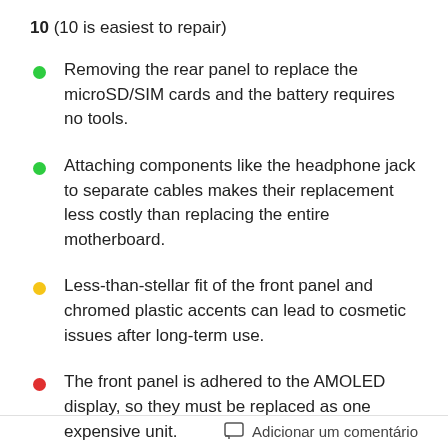10 (10 is easiest to repair)
Removing the rear panel to replace the microSD/SIM cards and the battery requires no tools.
Attaching components like the headphone jack to separate cables makes their replacement less costly than replacing the entire motherboard.
Less-than-stellar fit of the front panel and chromed plastic accents can lead to cosmetic issues after long-term use.
The front panel is adhered to the AMOLED display, so they must be replaced as one expensive unit.
Adicionar um comentário